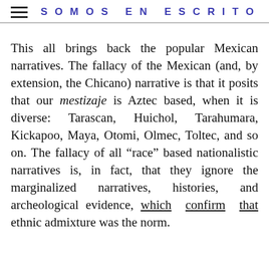SOMOS EN ESCRITO
This all brings back the popular Mexican narratives. The fallacy of the Mexican (and, by extension, the Chicano) narrative is that it posits that our mestizaje is Aztec based, when it is diverse: Tarascan, Huichol, Tarahumara, Kickapoo, Maya, Otomi, Olmec, Toltec, and so on. The fallacy of all “race” based nationalistic narratives is, in fact, that they ignore the marginalized narratives, histories, and archeological evidence, which confirm that ethnic admixture was the norm.
The Tlaxcaltecans, for example, were a mixture of ancient Tlaxcaltecans, Otomis, and Olmecs. The Spanish, too, as Gothic...